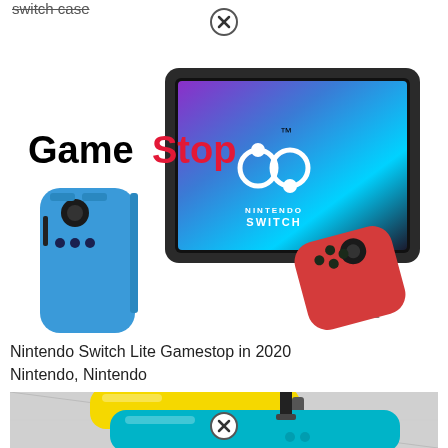switch case
[Figure (photo): GameStop Nintendo Switch product image showing the Nintendo Switch console in stand mode with neon blue and neon red Joy-Con controllers in front, with the GameStop logo overlaid on the left side]
Nintendo Switch Lite Gamestop in 2020 Nintendo, Nintendo
[Figure (photo): Nintendo Switch carrying cases in yellow and turquoise/teal colors with a black strap, partially visible]